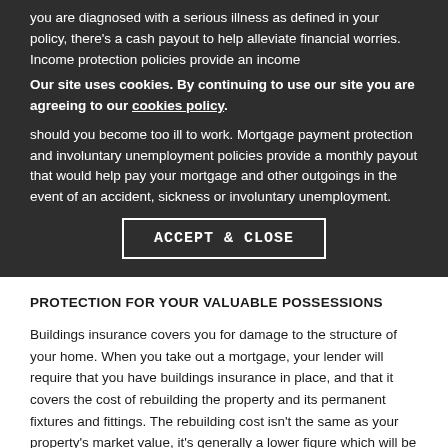you are diagnosed with a serious illness as defined in your policy, there's a cash payout to help alleviate financial worries. Income protection policies provide an income should you become too ill to work. Our site uses cookies. By continuing to use our site you are agreeing to our cookies policy. Mortgage payment protection and involuntary unemployment policies provide a monthly payout that would help pay your mortgage and other outgoings in the event of an accident, sickness or involuntary unemployment.
PROTECTION FOR YOUR VALUABLE POSSESSIONS
Buildings insurance covers you for damage to the structure of your home. When you take out a mortgage, your lender will require that you have buildings insurance in place, and that it covers the cost of rebuilding the property and its permanent fixtures and fittings. The rebuilding cost isn't the same as your property's market value, it's generally a lower figure which will be detailed in your lender's valuation report or arrived at by using an online calculator.